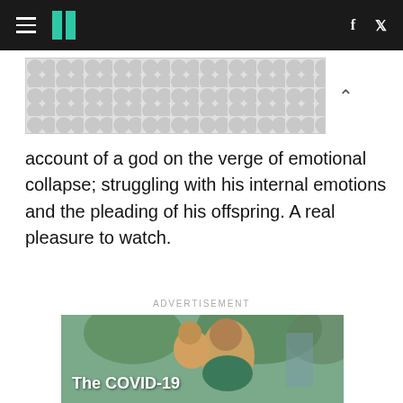HuffPost navigation bar with hamburger menu, logo, facebook and twitter icons
[Figure (other): Advertisement placeholder banner with grey dot/circle pattern background]
account of a god on the verge of emotional collapse; struggling with his internal emotions and the pleading of his offspring. A real pleasure to watch.
ADVERTISEMENT
[Figure (photo): Photo of a woman and a young child smiling outdoors with trees in background, overlaid with text 'The COVID-19']